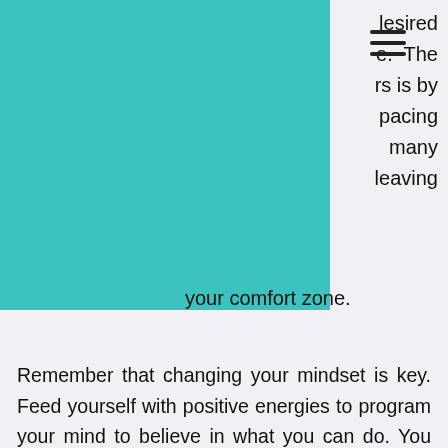[Figure (other): Teal/turquoise decorative block covering top-left area of the page]
desired
e.  The
rs is by
pacing
many
leaving
your comfort zone.
Remember that changing your mindset is key. Feed yourself with positive energies to program your mind to believe in what you can do. You can achieve anything in life with a little hard work, dedication, commitment and understanding that you can breakthrough obstacles of fear.